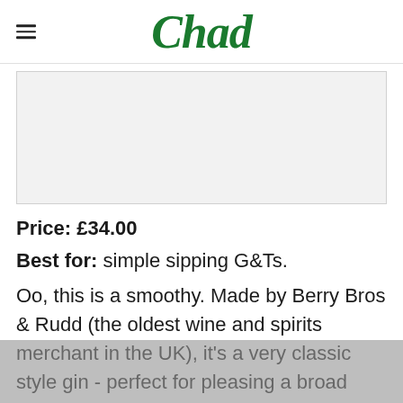Chad
[Figure (other): Grey placeholder advertisement banner]
Price: £34.00
Best for: simple sipping G&Ts.
Oo, this is a smoothy. Made by Berry Bros & Rudd (the oldest wine and spirits merchant in the UK), it's a very classic style gin - perfect for pleasing a broad range of palates, from those who enjoy the juniper, to those who are simply